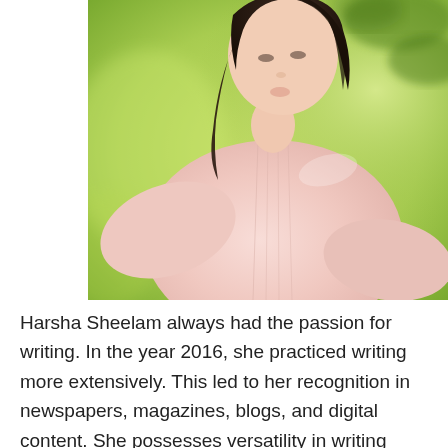[Figure (photo): A young woman with dark hair wearing a light pink long-sleeve top, photographed against a blurred green outdoor background. The photo is cropped to show her from approximately the waist up, slightly turned.]
Harsha Sheelam always had the passion for writing. In the year 2016, she practiced writing more extensively. This led to her recognition in newspapers, magazines, blogs, and digital content. She possesses versatility in writing